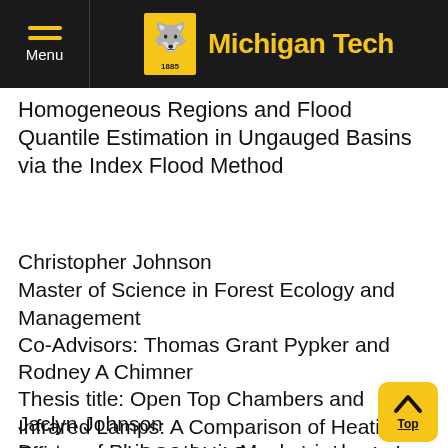Michigan Tech
...Homogeneous Regions and Flood Quantile Estimation in Ungauged Basins via the Index Flood Method
Christopher Johnson
Master of Science in Forest Ecology and Management
Co-Advisors: Thomas Grant Pypker and Rodney A Chimner
Thesis title: Open Top Chambers and Infrared Lamps: A Comparison of Heating Efficacy and CO2/CH4 Dynamics in a Lake Superior Coastal Peatland
Jaclyn Johnson
Doctor of Philosophy in Mechanical Engineering-